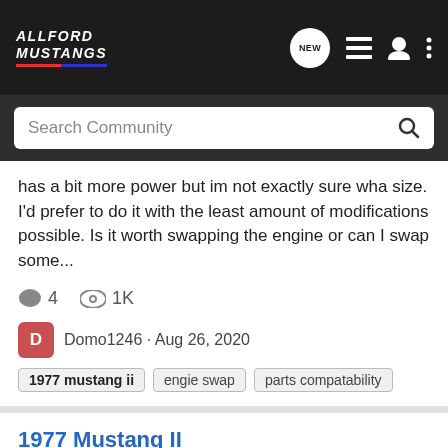AllFord Mustangs - navigation bar with logo, NEW button, list icon, user icon, more options
Search Community
has a bit more power but im not exactly sure wha size. I'd prefer to do it with the least amount of modifications possible. Is it worth swapping the engine or can I swap some...
4  1K
Domo1246 · Aug 26, 2020
1977 mustang ii   engie swap   parts compatability
1977 Mustang II
New Member Introductions | No Tech Questions
Hi, I am converting a 1977 Mustang fastback form 4 cyl to V8 and am looking for the right motor mounts??